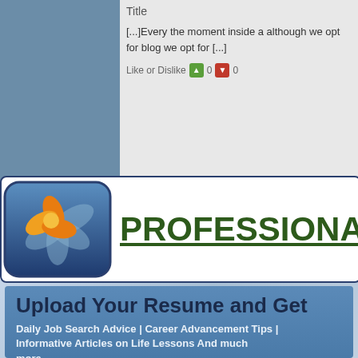Title
[...]Every the moment inside a although we opt for blog we opt for [...]
Like or Dislike 0 0
[Figure (logo): Professional Advice logo with flower icon on blue rounded square background]
PROFESSIONAL ADVI...
Upload Your Resume and Get
Daily Job Search Advice | Career Advancement Tips | Informative Articles on Life Lessons And much more...
Email Address
Upload Resume  Choose File  No file chosen